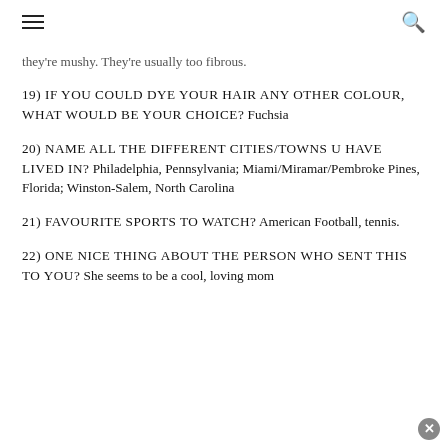≡  🔍
they're mushy. They're usually too fibrous.
19) IF YOU COULD DYE YOUR HAIR ANY OTHER COLOUR, WHAT WOULD BE YOUR CHOICE? Fuchsia
20) NAME ALL THE DIFFERENT CITIES/TOWNS U HAVE LIVED IN? Philadelphia, Pennsylvania; Miami/Miramar/Pembroke Pines, Florida; Winston-Salem, North Carolina
21) FAVOURITE SPORTS TO WATCH? American Football, tennis.
22) ONE NICE THING ABOUT THE PERSON WHO SENT THIS TO YOU? She seems to be a cool, loving mom